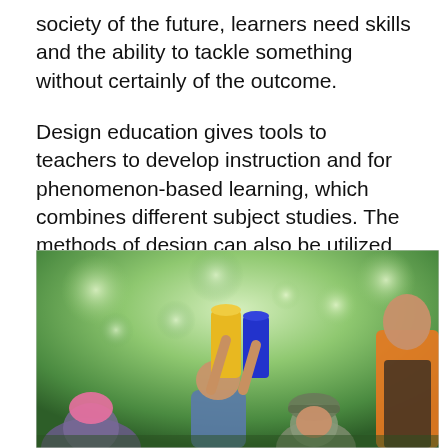society of the future, learners need skills and the ability to tackle something without certainly of the outcome.
Design education gives tools to teachers to develop instruction and for phenomenon-based learning, which combines different subject studies. The methods of design can also be utilized in the development of the school's learning environment and operating culture.
[Figure (photo): Outdoor photo of children in a forest/park setting holding up yellow and blue cylindrical objects, with green bokeh background and an adult in an orange vest visible on the right side.]